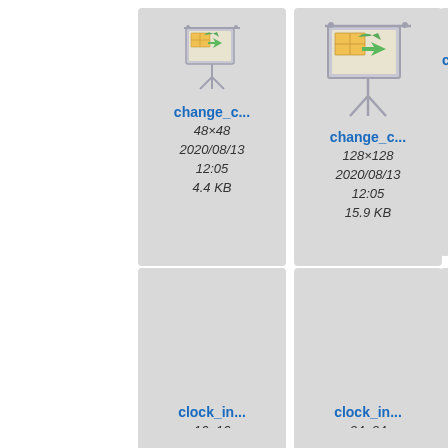[Figure (screenshot): File manager view showing image file thumbnails: change_c... 48x48 (4.4KB), change_c... 128x128 (15.9KB), clock_in... 16x16 (1.1KB), clock_in... 24x24 (2KB), with partial third column visible]
change_c...
48×48
2020/08/13
12:05
4.4 KB
change_c...
128×128
2020/08/13
12:05
15.9 KB
clock_in...
16×16
2020/08/13
12:05
1.1 KB
clock_in...
24×24
2020/08/13
12:05
2 KB